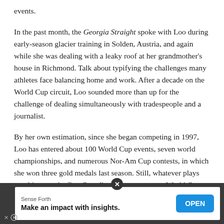events.
In the past month, the Georgia Straight spoke with Loo during early-season glacier training in Solden, Austria, and again while she was dealing with a leaky roof at her grandmother’s house in Richmond. Talk about typifying the challenges many athletes face balancing home and work. After a decade on the World Cup circuit, Loo sounded more than up for the challenge of dealing simultaneously with tradespeople and a journalist.
By her own estimation, since she began competing in 1997, Loo has entered about 100 World Cup events, seven world championships, and numerous Nor-Am Cup contests, in which she won three gold medals last season. Still, whatever plays out this year, the first Canadian woman to earn a World Cup medal in alpine snowboarding won’t ultimately be satisfied
[Figure (other): Advertisement banner: Sense Forth - Make an impact with insights. OPEN button. Dark background with white content area.]